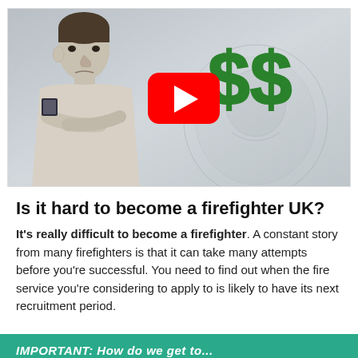[Figure (screenshot): YouTube video thumbnail showing a man in a light grey t-shirt with arms crossed, looking sideways, with large green dollar signs drawn on a background of banknotes, and a red YouTube play button in the center.]
Is it hard to become a firefighter UK?
It's really difficult to become a firefighter. A constant story from many firefighters is that it can take many attempts before you're successful. You need to find out when the fire service you're considering to apply to is likely to have its next recruitment period.
IMPORTANT: How do we get to...